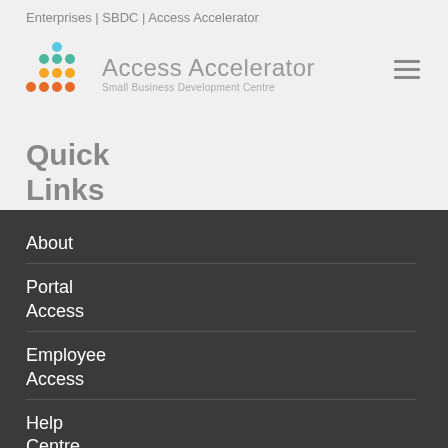Enterprises | SBDC | Access Accelerator
[Figure (logo): Access Accelerator Small Business Development Centre logo with colorful dot grid pattern]
Quick
Links
About
Portal Access
Employee Access
Help Centre
Blog
Contact Us